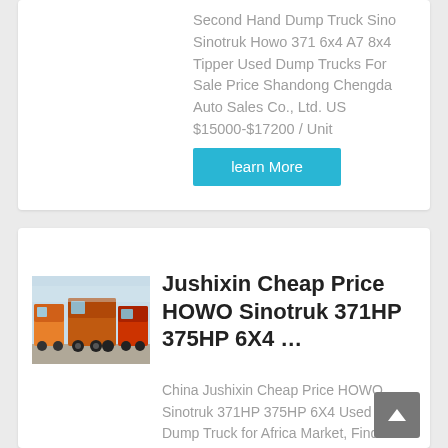Second Hand Dump Truck Sino Sinotruk Howo 371 6x4 A7 8x4 Tipper Used Dump Trucks For Sale Price Shandong Chengda Auto Sales Co., Ltd. US $15000-$17200 / Unit
learn More
[Figure (photo): Rear view of orange HOWO dump trucks parked in a lot]
Jushixin Cheap Price HOWO Sinotruk 371HP 375HP 6X4 ...
China Jushixin Cheap Price HOWO Sinotruk 371HP 375HP 6X4 Used Tipper Dump Truck for Africa Market, Find details about China Used